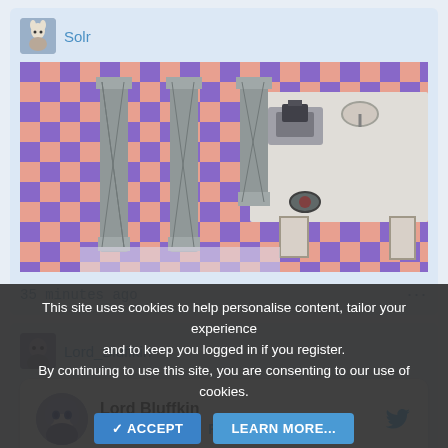Solr
[Figure (screenshot): Top-down RPG game screenshot with checkered pink and purple tile floor, metallic gate structures on the left, and a room with furniture (desk, equipment) on the right side.]
35 minutes ago
Lord_Bluffkin
[Figure (screenshot): Twitter embed card showing Lord Bluffkin (@LordBluffkin) with avatar of anime-style character with blue/silver hair, Follow button, and tweet text: Devlog for tonight: - Built Potion shop and a home for Chapter VII town]
This site uses cookies to help personalise content, tailor your experience and to keep you logged in if you register. By continuing to use this site, you are consenting to our use of cookies.
ACCEPT
LEARN MORE...